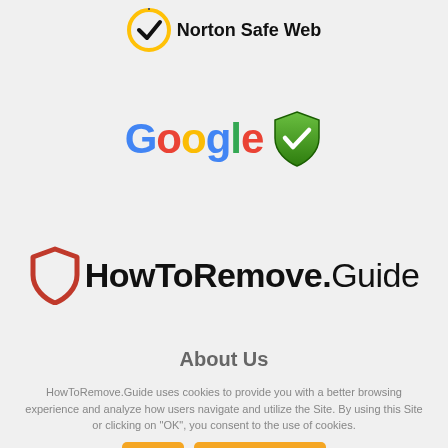[Figure (logo): Norton Safe Web logo — yellow circle with black checkmark and text 'Norton Safe Web']
[Figure (logo): Google logo with colorful letters and a green shield checkmark badge]
[Figure (logo): HowToRemove.Guide logo — red shield outline on left and bold text HowToRemove.Guide]
About Us
HowToRemove.Guide uses cookies to provide you with a better browsing experience and analyze how users navigate and utilize the Site. By using this Site or clicking on "OK", you consent to the use of cookies.
Ok | Privacy Policy